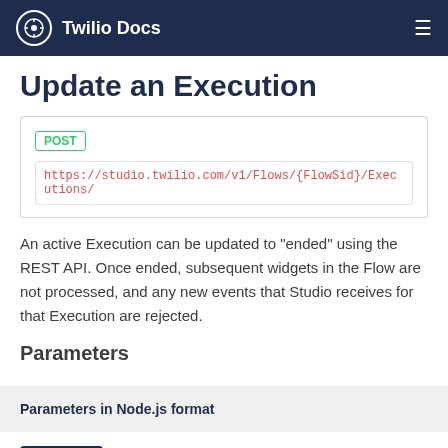Twilio Docs
Update an Execution
POST
https://studio.twilio.com/v1/Flows/{FlowSid}/Executions/
An active Execution can be updated to "ended" using the REST API. Once ended, subsequent widgets in the Flow are not processed, and any new events that Studio receives for that Execution are rejected.
Parameters
Parameters in Node.js format
flowSid